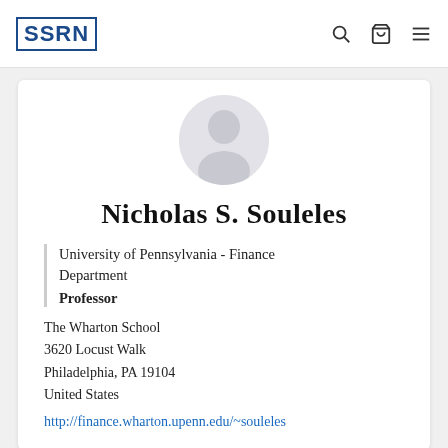SSRN
[Figure (illustration): Circular avatar placeholder with silhouette of a person's head and shoulders on light grey background]
Nicholas S. Souleles
University of Pennsylvania - Finance Department
Professor
The Wharton School
3620 Locust Walk
Philadelphia, PA 19104
United States
http://finance.wharton.upenn.edu/~souleles